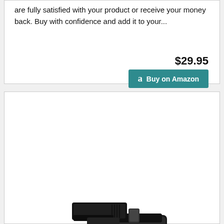are fully satisfied with your product or receive your money back. Buy with confidence and add it to your...
$29.95
Buy on Amazon
[Figure (photo): A black Glock pistol inserted into a black Kydex IWB holster, shown at an angle against a white background.]
Glock 17 / 22 / 31 Holster, IWB Kydex Holster Fits: G17(Gen 1-5) / G22(Gen 3-4) / G31(Gen 3-